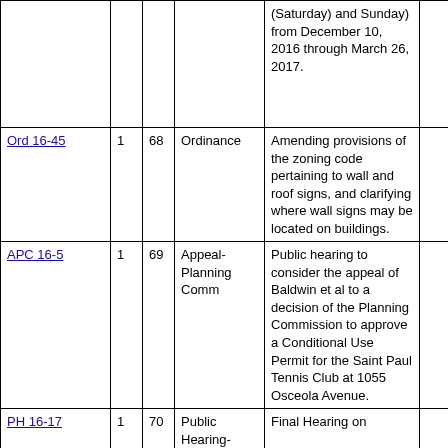| Item |  |  | Type | Description |  |
| --- | --- | --- | --- | --- | --- |
|  |  |  |  | (Saturday) and Sunday) from December 10, 2016 through March 26, 2017. |  |
| Ord 16-45 | 1 | 68 | Ordinance | Amending provisions of the zoning code pertaining to wall and roof signs, and clarifying where wall signs may be located on buildings. |  |
| APC 16-5 | 1 | 69 | Appeal-Planning Comm | Public hearing to consider the appeal of Baldwin et al to a decision of the Planning Commission to approve a Conditional Use Permit for the Saint Paul Tennis Club at 1055 Osceola Avenue. |  |
| PH 16-17 | 1 | 70 | Public Hearing- | Final Hearing on |  |